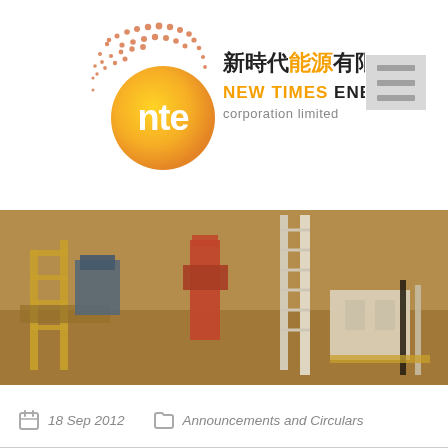[Figure (logo): New Times Energy Corporation Limited logo with Chinese characters 新時代能源有限公司, orange globe graphic with 'nte' text, and orange/black bilingual wordmark]
[Figure (photo): Aerial photograph of an industrial oil/gas drilling facility or mining plant with yellow scaffolding, a white steel tower/derrick, red equipment, and earth/sand-colored surroundings]
18 Sep 2012    Announcements and Circulars